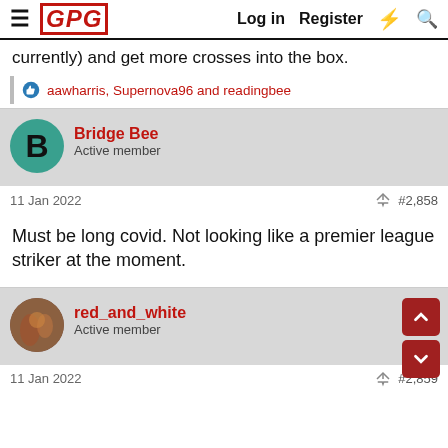GPG | Log in | Register
currently) and get more crosses into the box.
aawharris, Supernova96 and readingbee
Bridge Bee
Active member
11 Jan 2022   #2,858
Must be long covid. Not looking like a premier league striker at the moment.
red_and_white
Active member
11 Jan 2022   #2,859